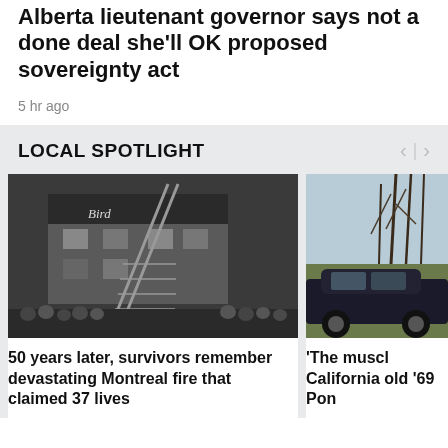Alberta lieutenant governor says not a done deal she'll OK proposed sovereignty act
5 hr ago
LOCAL SPOTLIGHT
[Figure (photo): Black and white historical photo of firefighters with ladders at a building fire, crowds of people watching]
50 years later, survivors remember devastating Montreal fire that claimed 37 lives
[Figure (photo): Color photo of a dark muscle car parked near trees in a field, partial view]
'The muscl California old '69 Pon